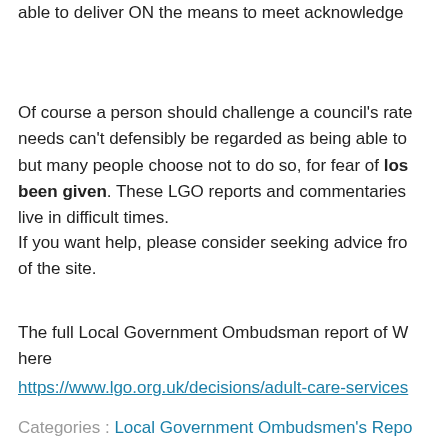able to deliver ON the means to meet acknowledge
Of course a person should challenge a council's rate needs can't defensibly be regarded as being able to but many people choose not to do so, for fear of losing the care they've been given. These LGO reports and commentaries live in difficult times.
If you want help, please consider seeking advice fro of the site.
The full Local Government Ombudsman report of W here
https://www.lgo.org.uk/decisions/adult-care-services
Categories : Local Government Ombudsmen's Repo